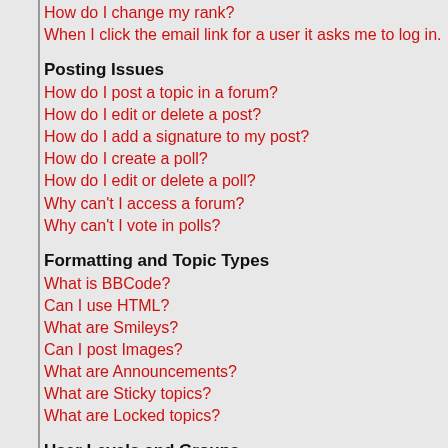How do I change my rank?
When I click the email link for a user it asks me to log in.
Posting Issues
How do I post a topic in a forum?
How do I edit or delete a post?
How do I add a signature to my post?
How do I create a poll?
How do I edit or delete a poll?
Why can't I access a forum?
Why can't I vote in polls?
Formatting and Topic Types
What is BBCode?
Can I use HTML?
What are Smileys?
Can I post Images?
What are Announcements?
What are Sticky topics?
What are Locked topics?
User Levels and Groups
What are Administrators?
What are Moderators?
What are Usergroups?
How do I join a Usergroup?
How do I become a Usergroup Moderator?